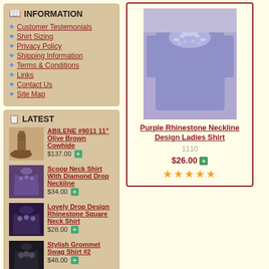INFORMATION
Customer Testemonials
Shirt Sizing
Privacy Policy
Shipping Information
Terms & Conditions
Links
Contact Us
Site Map
LATEST
ABILENE #9011 11” Olive Brown Cowhide $137.00
Scoop Neck Shirt With Diamond Drop Neckline $34.00
Lovely Drop Design Rhinestone Square Neck Shirt $28.00
Stylish Grommet Swag Shirt #2 $48.00
[Figure (photo): Purple rhinestone neckline ladies shirt product photo]
Purple Rhinestone Neckline Design Ladies Shirt
1110
$26.00
★★★★★